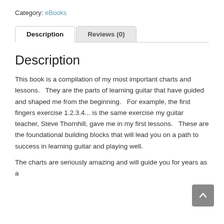Category: eBooks
Description
Reviews (0)
Description
This book is a compilation of my most important charts and lessons.   They are the parts of learning guitar that have guided and shaped me from the beginning.   For example, the first fingers exercise 1.2.3.4... is the same exercise my guitar teacher, Steve Thornhill, gave me in my first lessons.   These are the foundational building blocks that will lead you on a path to success in learning guitar and playing well.
The charts are seriously amazing and will guide you for years as a